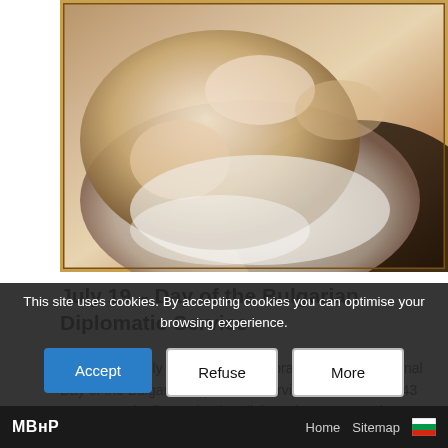[Figure (illustration): Classical oil painting in a gold frame showing reclining figures in a Baroque or Romantic style, with warm golden tones, draped fabric, and classical composition.]
July 19 – Day of the Bulgarian Diplomatic Service
Since 1999, July 19 has been celebrated as a professional Day of the Bulgarian Diplomatic Service. On this date 143 years ago, the first Bulgarian diplomatic representatives abroad were appointed by decree of Prince Alexander Battenberg. Dragan Tsankov, Evlogi Georgiev and Dimitar Kirovich were sent to represent our country in Constantinople, Bucharest and…
This site uses cookies. By accepting cookies you can optimise your browsing experience.
МВнР   Home   Sitemap